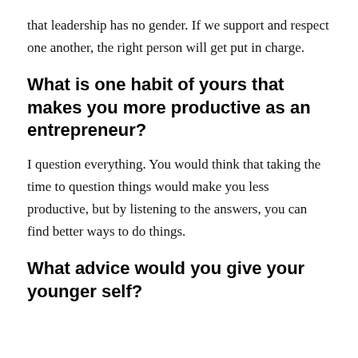that leadership has no gender. If we support and respect one another, the right person will get put in charge.
What is one habit of yours that makes you more productive as an entrepreneur?
I question everything. You would think that taking the time to question things would make you less productive, but by listening to the answers, you can find better ways to do things.
What advice would you give your younger self?